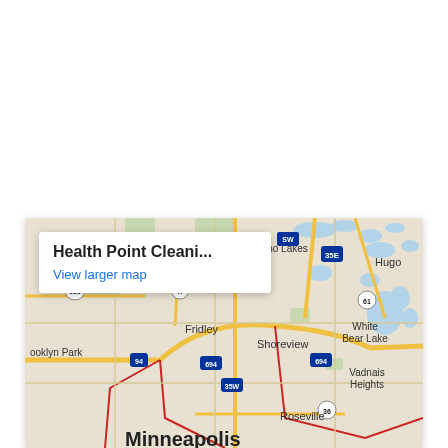[Figure (map): Google Maps embedded map showing Minneapolis-Saint Paul metro area with suburbs including Brooklyn Park, Fridley, Shoreview, White Bear Lake, Vadnais Heights, Roseville, Hugo, Lino Lakes. Highway markers visible: 94, 694, 35E, 35W, 47, 610, 61, 36. A popup overlay reads 'Health Point Cleani...' with a 'View larger map' link in blue.]